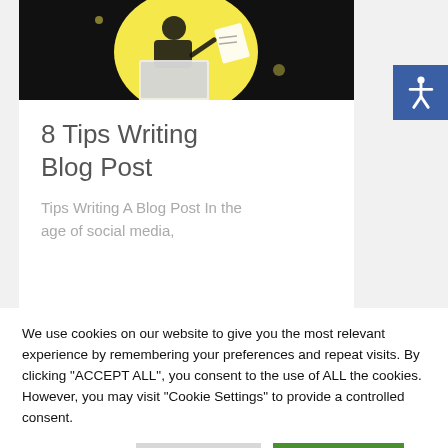[Figure (illustration): Illustration of a person using a laptop with yellow/black background design]
8 Tips Writing Blog Post
Tips Writing A Blog Post In the age of social media,
We use cookies on our website to give you the most relevant experience by remembering your preferences and repeat visits. By clicking "ACCEPT ALL", you consent to the use of ALL the cookies. However, you may visit "Cookie Settings" to provide a controlled consent.